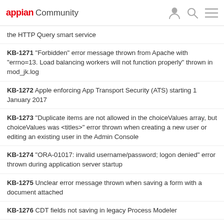appian Community
the HTTP Query smart service
KB-1271 "Forbidden" error message thrown from Apache with "errno=13. Load balancing workers will not function properly" thrown in mod_jk.log
KB-1272 Apple enforcing App Transport Security (ATS) starting 1 January 2017
KB-1273 "Duplicate items are not allowed in the choiceValues array, but choiceValues was <titles>" error thrown when creating a new user or editing an existing user in the Admin Console
KB-1274 "ORA-01017: invalid username/password; logon denied" error thrown during application server startup
KB-1275 Unclear error message thrown when saving a form with a document attached
KB-1276 CDT fields not saving in legacy Process Modeler
KB-1277 Error attempting to unzip Appian hotfix package
KB-1278 "Cannot migrate: There is no migration path" error thrown in gw-*.log or APP window after engines fail to start
KB-1279 "We cannot have any import failures" error thrown in the application server log after attempting to create a Quick App
KB-1280 "com.appiancorp.kougar.driver.exceptions.Signal: type" error thrown when starting JBoss in a distributed environment
KB-1282 Incomplete import history in Admin Console